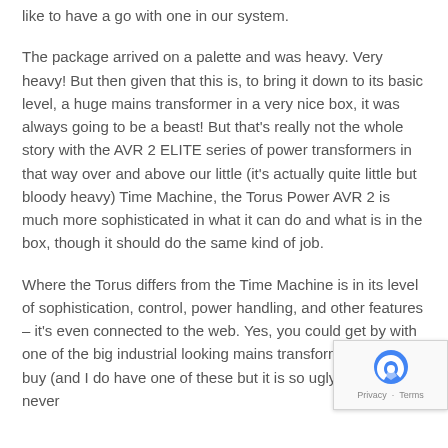like to have a go with one in our system.
The package arrived on a palette and was heavy. Very heavy! But then given that this is, to bring it down to its basic level, a huge mains transformer in a very nice box, it was always going to be a beast! But that's really not the whole story with the AVR 2 ELITE series of power transformers in that way over and above our little (it's actually quite little but bloody heavy) Time Machine, the Torus Power AVR 2 is much more sophisticated in what it can do and what is in the box, though it should do the same kind of job.
Where the Torus differs from the Time Machine is in its level of sophistication, control, power handling, and other features – it's even connected to the web. Yes, you could get by with one of the big industrial looking mains transformers you can buy (and I do have one of these but it is so ugly that I have never